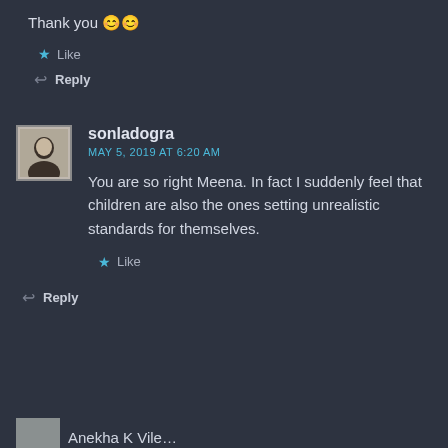Thank you 😊😊
★ Like
↩ Reply
sonladogra
MAY 5, 2019 AT 6:20 AM
You are so right Meena. In fact I suddenly feel that children are also the ones setting unrealistic standards for themselves.
★ Like
↩ Reply
Anekha K Vile...